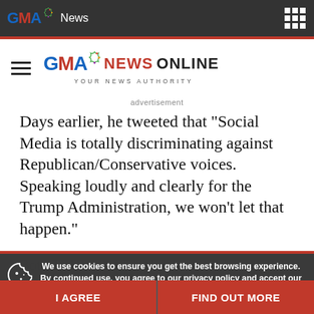GMA News
[Figure (logo): GMA News Online logo with tagline YOUR NEWS AUTHORITY]
advertisement
Days earlier, he tweeted that "Social Media is totally discriminating against Republican/Conservative voices. Speaking loudly and clearly for the Trump Administration, we won't let that happen."
We use cookies to ensure you get the best browsing experience. By continued use, you agree to our privacy policy and accept our use of such cookies. For further information, click FIND OUT MORE.
I AGREE
FIND OUT MORE